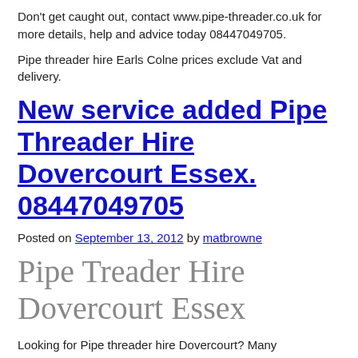Don't get caught out, contact www.pipe-threader.co.uk for more details, help and advice today 08447049705.
Pipe threader hire Earls Colne prices exclude Vat and delivery.
New service added Pipe Threader Hire Dovercourt Essex. 08447049705
Posted on September 13, 2012 by matbrowne
Pipe Treader Hire Dovercourt Essex
Looking for Pipe threader hire Dovercourt? Many Professionals who hire Ridged Pipe threaders are